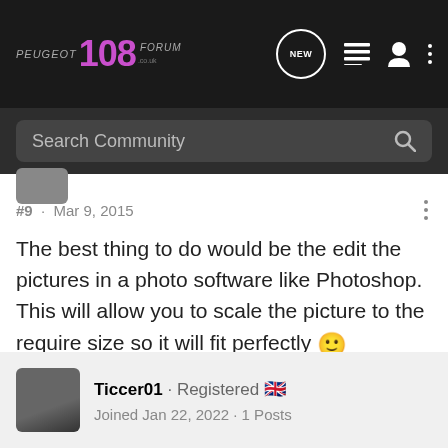[Figure (screenshot): Peugeot 108 Forum navigation bar with logo, search community bar, and icons]
#9 · Mar 9, 2015
The best thing to do would be the edit the pictures in a photo software like Photoshop. This will allow you to scale the picture to the require size so it will fit perfectly 🙂
Ticcer01 · Registered 🇬🇧 Joined Jan 22, 2022 · 1 Posts